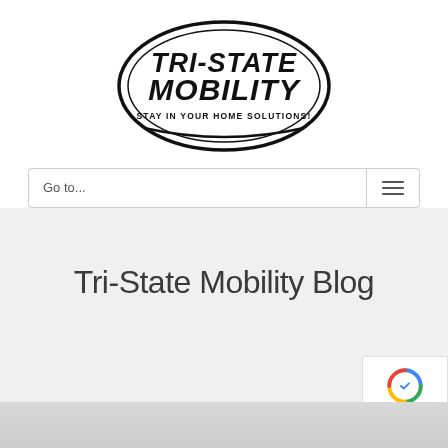[Figure (logo): Tri-State Mobility logo — oval shape with bold stylized text reading TRI-STATE MOBILITY and tagline STAY IN YOUR HOME SOLUTIONS!]
Go to...
Tri-State Mobility Blog
[Figure (photo): Partial photo at bottom of page showing a person, cropped]